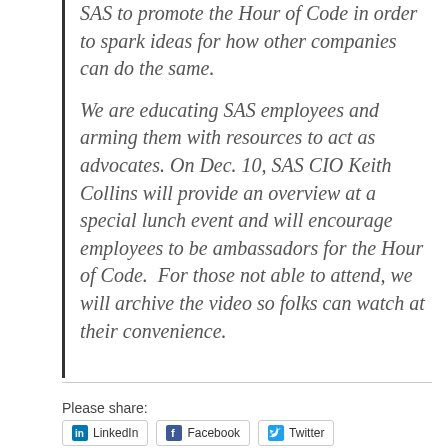SAS to promote the Hour of Code in order to spark ideas for how other companies can do the same.
We are educating SAS employees and arming them with resources to act as advocates. On Dec. 10, SAS CIO Keith Collins will provide an overview at a special lunch event and will encourage employees to be ambassadors for the Hour of Code.  For those not able to attend, we will archive the video so folks can watch at their convenience.
Please share:
[Figure (other): Social sharing buttons: LinkedIn, Facebook, Twitter]